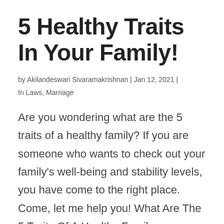5 Healthy Traits In Your Family!
by Akilandeswari Sivaramakrishnan | Jan 12, 2021 |
In Laws, Marriage
Are you wondering what are the 5 traits of a healthy family? If you are someone who wants to check out your family's well-being and stability levels, you have come to the right place. Come, let me help you! What Are The 5 Traits Of A Healthy Family –